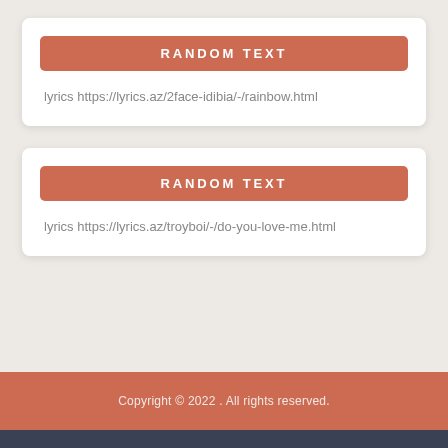RANDOM TEXT
lyrics https://lyrics.az/2face-idibia/-/rainbow.html
RANDOM TEXT
lyrics https://lyrics.az/troyboi/-/do-you-love-me.html
Copyright © 2022 . All rights reserved.